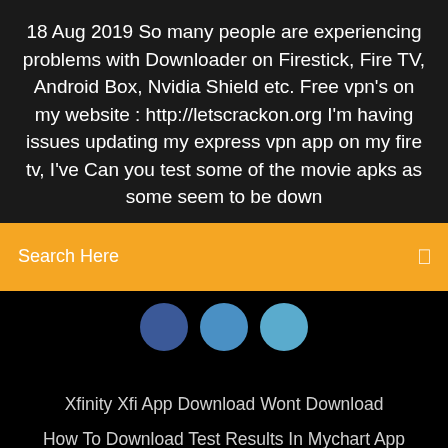18 Aug 2019 So many people are experiencing problems with Downloader on Firestick, Fire TV, Android Box, Nvidia Shield etc. Free vpn's on my website : http://letscrackon.org I'm having issues updating my express vpn app on my fire tv, I've Can you test some of the movie apks as some seem to be down
Search Here
[Figure (illustration): Three blue circular social media/share buttons partially visible]
Xfinity Xfi App Download Wont Download
How To Download Test Results In Mychart App
Download Driver Hp Laser Jet 1020
Cant Download Pictures From Text Messages Android